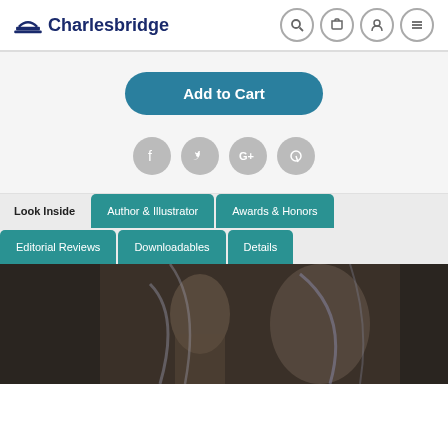[Figure (logo): Charlesbridge publisher logo with bridge icon and dark blue text]
[Figure (screenshot): Navigation icons: search, cart, user, menu]
[Figure (other): Add to Cart button in teal/dark cyan rounded rectangle]
[Figure (other): Social media share icons: Facebook, Twitter, Google+, Pinterest in gray circles]
[Figure (other): Tab navigation: Look Inside, Author & Illustrator, Awards & Honors (top row teal), Editorial Reviews, Downloadables, Details (bottom row teal)]
[Figure (photo): Dark book interior preview image showing a figure in historical/classical painting style]